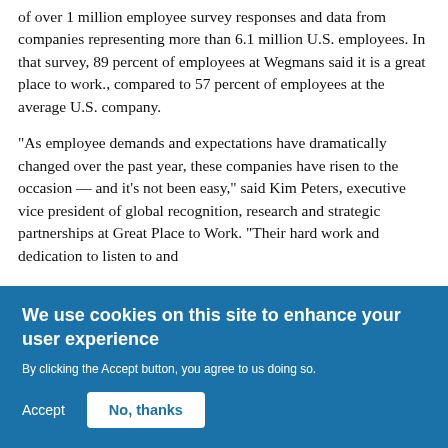of over 1 million employee survey responses and data from companies representing more than 6.1 million U.S. employees. In that survey, 89 percent of employees at Wegmans said it is a great place to work., compared to 57 percent of employees at the average U.S. company.
“As employee demands and expectations have dramatically changed over the past year, these companies have risen to the occasion — and it’s not been easy,” said Kim Peters, executive vice president of global recognition, research and strategic partnerships at Great Place to Work. “Their hard work and dedication to listen to and
We use cookies on this site to enhance your user experience
By clicking the Accept button, you agree to us doing so.
Accept
No, thanks